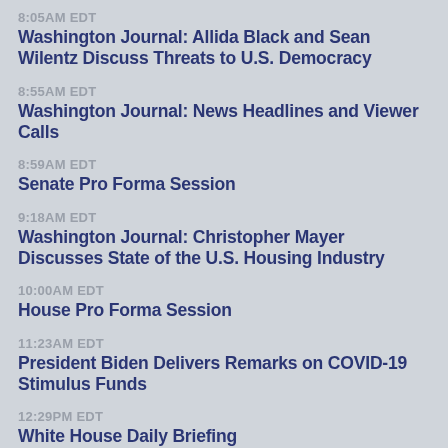8:05AM EDT
Washington Journal: Allida Black and Sean Wilentz Discuss Threats to U.S. Democracy
8:55AM EDT
Washington Journal: News Headlines and Viewer Calls
8:59AM EDT
Senate Pro Forma Session
9:18AM EDT
Washington Journal: Christopher Mayer Discusses State of the U.S. Housing Industry
10:00AM EDT
House Pro Forma Session
11:23AM EDT
President Biden Delivers Remarks on COVID-19 Stimulus Funds
12:29PM EDT
White House Daily Briefing
3:54PM EDT
President Biden and First Lady Shake Hands Before